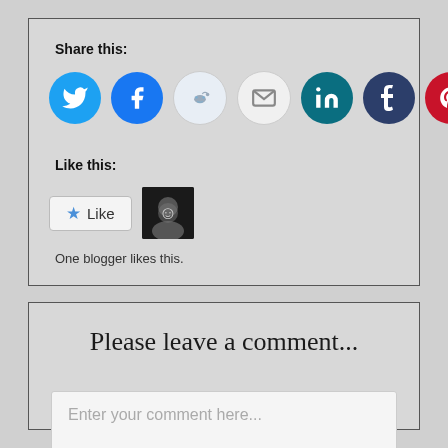Share this:
[Figure (infographic): Row of social media icon circles: Twitter (cyan), Facebook (blue), Reddit (light blue/white), Email (white/gray), LinkedIn (teal), Tumblr (dark blue), Pinterest (red)]
Like this:
[Figure (infographic): Like button with star icon and avatar thumbnail]
One blogger likes this.
Please leave a comment...
Enter your comment here...